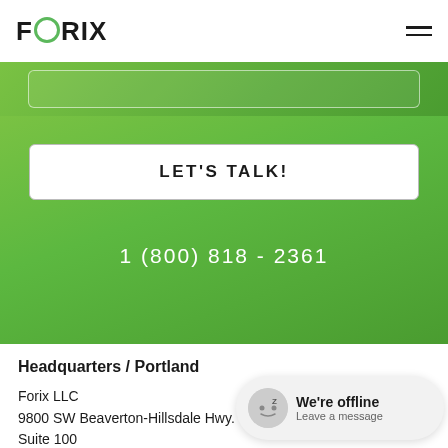FORIX
[Figure (screenshot): Partial green button strip at top of green section]
LET'S TALK!
1 (800) 818 - 2361
Headquarters / Portland
Forix LLC
9800 SW Beaverton-Hillsdale Hwy.
Suite 100
Beaverton, OR 97005, USA
1-800-818-2361
hello@forixdigital.com
[Figure (screenshot): Chat widget showing 'We're offline' with avatar and 'Leave a message' link]